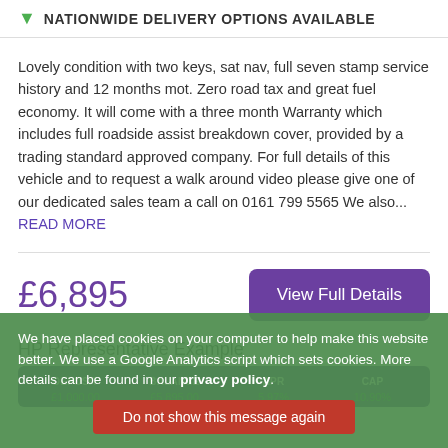NATIONWIDE DELIVERY OPTIONS AVAILABLE
Lovely condition with two keys, sat nav, full seven stamp service history and 12 months mot. Zero road tax and great fuel economy. It will come with a three month Warranty which includes full roadside assist breakdown cover, provided by a trading standard approved company. For full details of this vehicle and to request a walk around video please give one of our dedicated sales team a call on 0161 799 5565 We also... READ MORE
£6,895
View Full Details
HP Representative Example
| DEPOSIT | BALANCE | APR | CAP |
| --- | --- | --- | --- |
| £1,000.00 | £5,895.00 | 5.97% | 10.90% |
We have placed cookies on your computer to help make this website better. We use a Google Analytics script which sets cookies. More details can be found in our privacy policy.
Do not show this message again